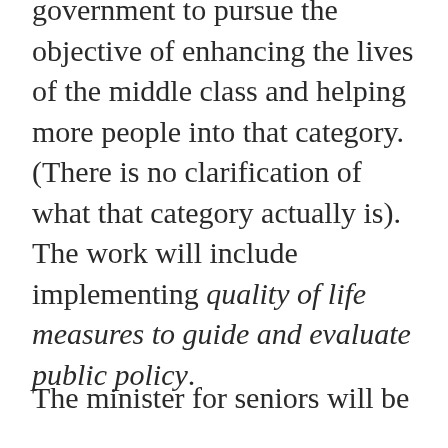government to pursue the objective of enhancing the lives of the middle class and helping more people into that category. (There is no clarification of what that category actually is). The work will include implementing quality of life measures to guide and evaluate public policy.
The minister for seniors will be